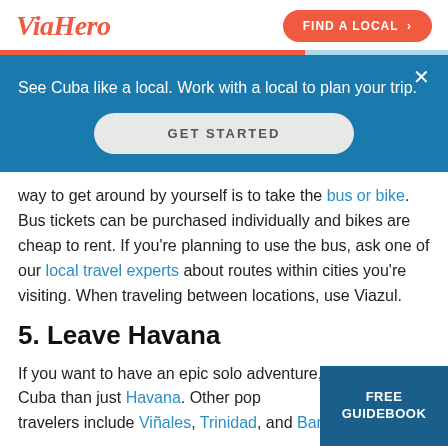ViaHero | FIND A LOCAL >
[Figure (screenshot): Blue promotional banner with text 'See Cuba like a local. Work with a local to plan your trip.' and a GET STARTED button, with a close X button in the top right]
way to get around by yourself is to take the bus or bike. Bus tickets can be purchased individually and bikes are cheap to rent. If you're planning to use the bus, ask one of our local travel experts about routes within cities you're visiting. When traveling between locations, use Viazul.
5. Leave Havana
If you want to have an epic solo adventure, see more of Cuba than just Havana. Other pop... travelers include Viñales, Trinidad, and Bar...